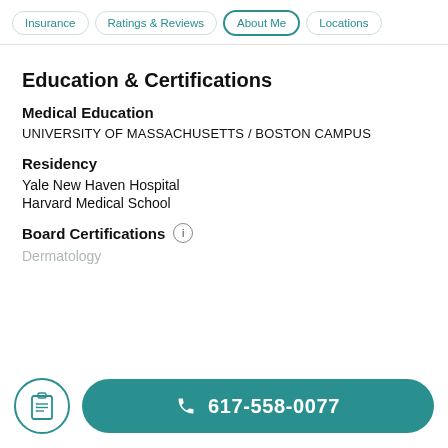Insurance | Ratings & Reviews | About Me | Locations
Education & Certifications
Medical Education
UNIVERSITY OF MASSACHUSETTS / BOSTON CAMPUS
Residency
Yale New Haven Hospital
Harvard Medical School
Board Certifications
Dermatology
617-558-0077